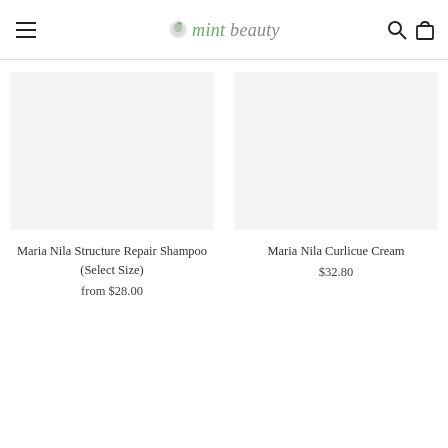mint beauty
Maria Nila Structure Repair Shampoo (Select Size)
from $28.00
Maria Nila Curlicue Cream
$32.80